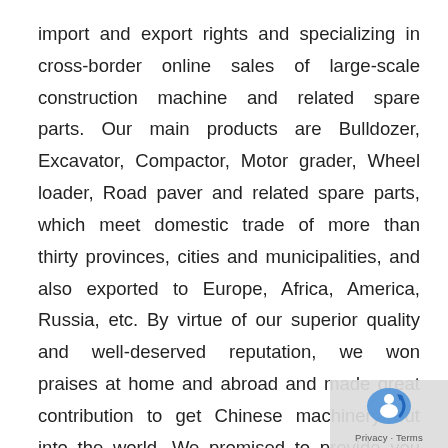import and export rights and specializing in cross-border online sales of large-scale construction machine and related spare parts. Our main products are Bulldozer, Excavator, Compactor, Motor grader, Wheel loader, Road paver and related spare parts, which meet domestic trade of more than thirty provinces, cities and municipalities, and also exported to Europe, Africa, America, Russia, etc. By virtue of our superior quality and well-deserved reputation, we won praises at home and abroad and made great contribution to get Chinese machinery out into the world. We promised to provide you with the first-class items and service, to build the first-class team, to create first-class values and establish first-class enterprise image. We believe that
[Figure (logo): reCAPTCHA logo with Privacy and Terms text overlay in bottom right corner]